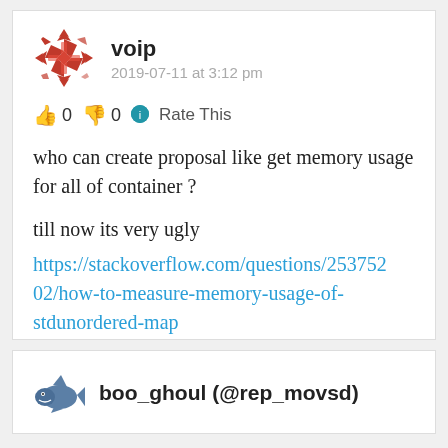voip
2019-07-11 at 3:12 pm
👍 0 👎 0 🔵 Rate This
who can create proposal like get memory usage for all of container ?
till now its very ugly
https://stackoverflow.com/questions/25375202/how-to-measure-memory-usage-of-stdunordered-map
boo_ghoul (@rep_movsd)